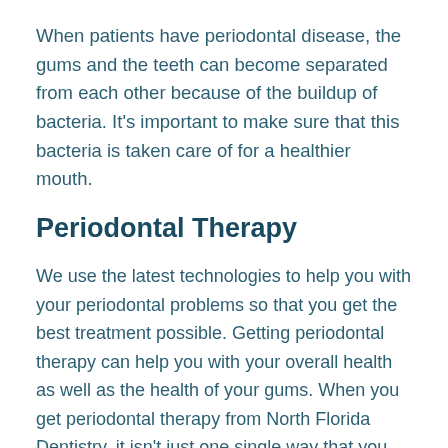When patients have periodontal disease, the gums and the teeth can become separated from each other because of the buildup of bacteria. It's important to make sure that this bacteria is taken care of for a healthier mouth.
Periodontal Therapy
We use the latest technologies to help you with your periodontal problems so that you get the best treatment possible. Getting periodontal therapy can help you with your overall health as well as the health of your gums. When you get periodontal therapy from North Florida Dentistry, it isn't just one single way that you are treated for gum disease. We have several different treatments that can be used in periodontal therapy so that your gums get healthier and to get rid of the gum disease.
When patients are given periodontal therapy, the goal is